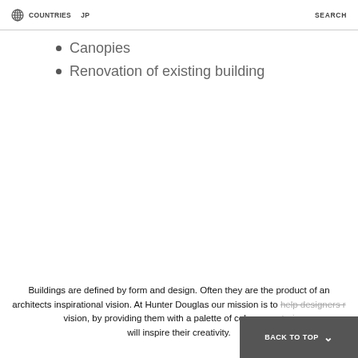COUNTRIES  JP  SEARCH
Canopies
Renovation of existing building
Buildings are defined by form and design. Often they are the product of an architects inspirational vision. At Hunter Douglas our mission is to help designers r... vision, by providing them with a palette of colours, materi... will inspire their creativity.